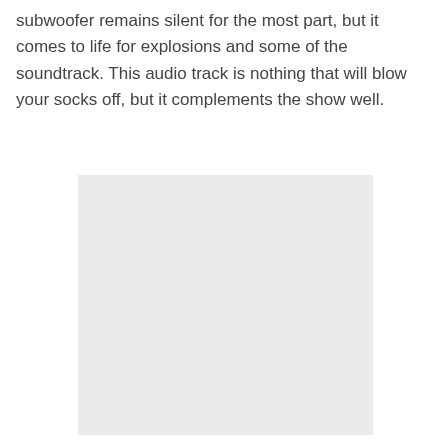subwoofer remains silent for the most part, but it comes to life for explosions and some of the soundtrack. This audio track is nothing that will blow your socks off, but it complements the show well.
[Figure (photo): A blank light gray rectangular image placeholder]